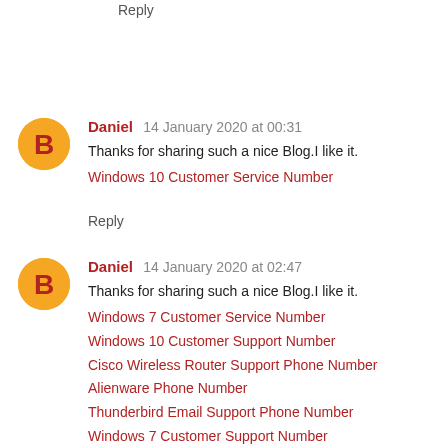Reply
Daniel  14 January 2020 at 00:31
Thanks for sharing such a nice Blog.I like it.
Windows 10 Customer Service Number
Reply
Daniel  14 January 2020 at 02:47
Thanks for sharing such a nice Blog.I like it.
Windows 7 Customer Service Number
Windows 10 Customer Support Number
Cisco Wireless Router Support Phone Number
Alienware Phone Number
Thunderbird Email Support Phone Number
Windows 7 Customer Support Number
Netgear Router Tech Support Number USA
Reply